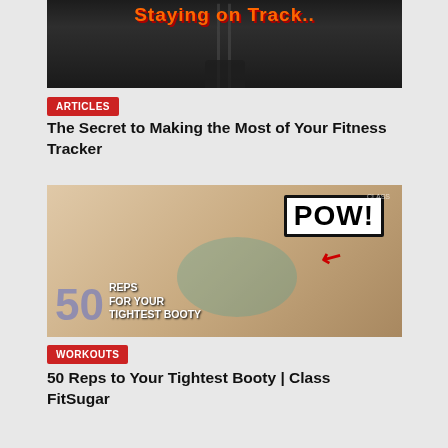[Figure (photo): Top cropped image showing 'Staying on Track' text on a dark railway track background with shoes visible]
ARTICLES
The Secret to Making the Most of Your Fitness Tracker
[Figure (photo): Workout video thumbnail showing a person doing mountain climber exercise with 'POW!' text and '50 REPS FOR YOUR TIGHTEST BOOTY' overlay]
WORKOUTS
50 Reps to Your Tightest Booty | Class FitSugar